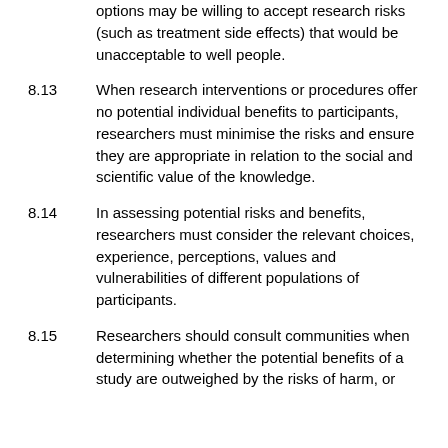with cancer with limited treatment options may be willing to accept research risks (such as treatment side effects) that would be unacceptable to well people.
8.13 When research interventions or procedures offer no potential individual benefits to participants, researchers must minimise the risks and ensure they are appropriate in relation to the social and scientific value of the knowledge.
8.14 In assessing potential risks and benefits, researchers must consider the relevant choices, experience, perceptions, values and vulnerabilities of different populations of participants.
8.15 Researchers should consult communities when determining whether the potential benefits of a study are outweighed by the risks of harm, or